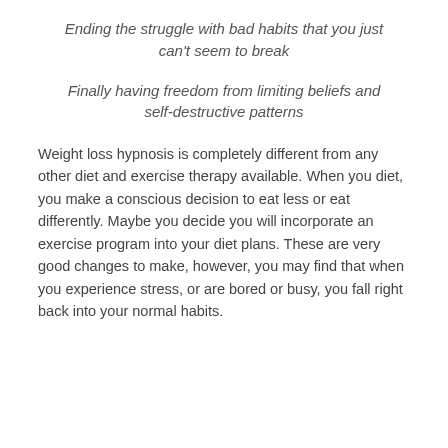Ending the struggle with bad habits that you just can't seem to break
Finally having freedom from limiting beliefs and self-destructive patterns
Weight loss hypnosis is completely different from any other diet and exercise therapy available. When you diet, you make a conscious decision to eat less or eat differently. Maybe you decide you will incorporate an exercise program into your diet plans. These are very good changes to make, however, you may find that when you experience stress, or are bored or busy, you fall right back into your normal habits.